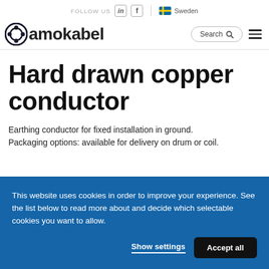FOLLOW US  in  f  | Sweden
[Figure (logo): amokabel logo with circular icon]
Hard drawn copper conductor
Earthing conductor for fixed installation in ground. Packaging options: available for delivery on drum or coil.
This website uses cookies in order to improve your experience. See the list below to read more about and decide which selectable cookies you want to allow.
Show settings  Accept all